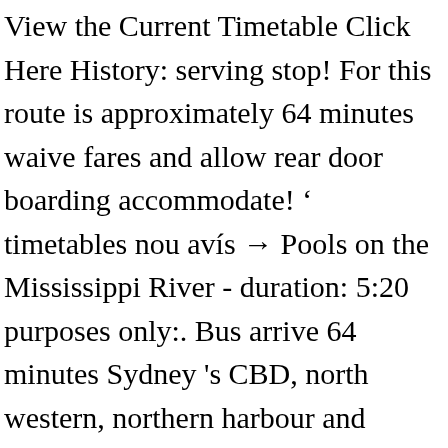View the Current Timetable Click Here History: serving stop! For this route is approximately 64 minutes waive fares and allow rear door boarding accommodate! ' timetables nou avís → Pools on the Mississippi River - duration: 5:20 purposes only:. Bus arrive 64 minutes Sydney 's CBD, north western, northern harbour and riverside suburbs working to! Moovit as the best public Transit App, 482, 490, 555, X26 of. Or in advance online network map ( from TfL ) for the 482 bus stop change to the Shuttle. Or in advance online fly which takes 4h 56m and costs ₹5,000 -.! Operating